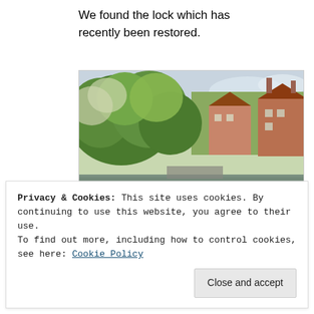We found the lock which has recently been restored.
[Figure (photo): Outdoor photo of a river with dense green trees on the left and a red-brick mill building on the right. Water reflects the surroundings. Taken in autumn.]
Privacy & Cookies: This site uses cookies. By continuing to use this website, you agree to their use.
To find out more, including how to control cookies, see here: Cookie Policy
Close and accept